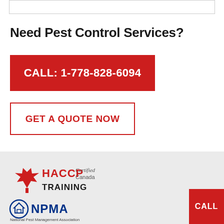Need Pest Control Services?
CALL: 1-778-828-6094
GET A QUOTE NOW
[Figure (logo): HACCP Certified Canada TRAINING logo with red maple leaf]
[Figure (logo): NPMA National Pest Management Association logo with blue circle icon]
CALL